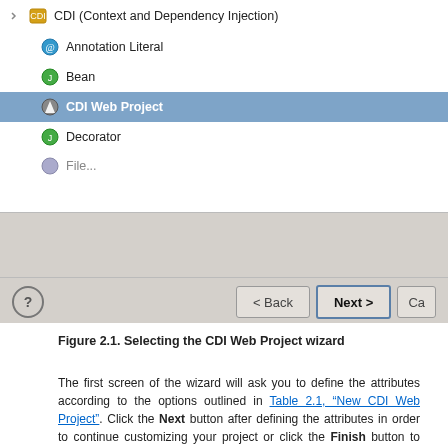[Figure (screenshot): Eclipse IDE wizard showing a list of CDI project types including Annotation Literal, Bean, CDI Web Project (selected/highlighted), Decorator, and a partially visible item. Below the list is a gray panel with navigation buttons: a help (?) button, < Back button, Next > button (bold), and a partially visible Cancel button.]
Figure 2.1. Selecting the CDI Web Project wizard
The first screen of the wizard will ask you to define the attributes according to the options outlined in Table 2.1, “New CDI Web Project”. Click the Next button after defining the attributes in order to continue customizing your project or click the Finish button to accept all other defaults and create your